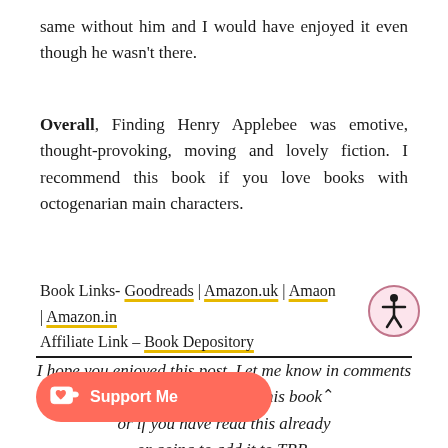same without him and I would have enjoyed it even though he wasn't there.
Overall, Finding Henry Applebee was emotive, thought-provoking, moving and lovely fiction. I recommend this book if you love books with octogenarian main characters.
Book Links- Goodreads | Amazon.uk | Amazon.com | Amazon.in
Affiliate Link – Book Depository
I hope you enjoyed this post. Let me know in comments what you think about this book or if you have read this already or going to add it to TBR.
[Figure (logo): Ko-fi Support Me button - coral/red rounded button with coffee cup icon and heart]
[Figure (logo): Accessibility icon - person in circle outline, pink tint]